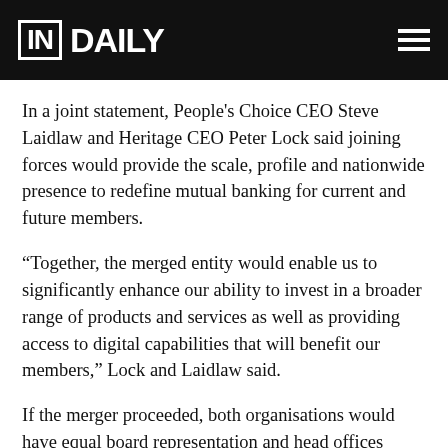IN DAILY
In a joint statement, People's Choice CEO Steve Laidlaw and Heritage CEO Peter Lock said joining forces would provide the scale, profile and nationwide presence to redefine mutual banking for current and future members.
“Together, the merged entity would enable us to significantly enhance our ability to invest in a broader range of products and services as well as providing access to digital capabilities that will benefit our members,” Lock and Laidlaw said.
If the merger proceeded, both organisations would have equal board representation and head offices would be retained in both Toowoomba and Adelaide.
It is understood that if the merger goes ahead, it is likely